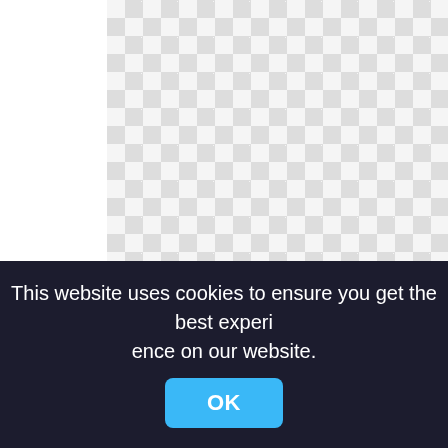[Figure (other): Checkerboard transparency pattern representing a PNG image with transparent background. The image area spans most of the visible page area.]
texas longhorn beef cattle calf ox dairy cattle cattle png
900x1146px
This website uses cookies to ensure you get the best experience on our website.